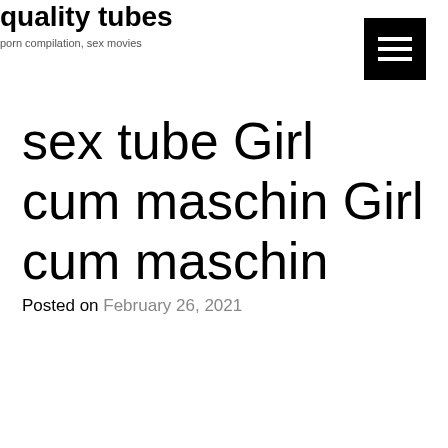quality tubes
porn compilation, sex movies
sex tube Girl cum maschin Girl cum maschin
Posted on February 26, 2021